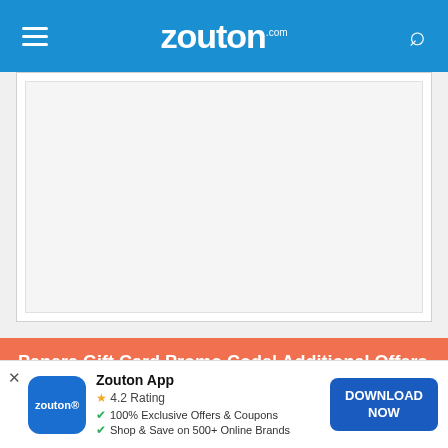zouton.com
[Figure (other): Advertisement placeholder box — white card with light grey inner border on grey background]
Panera Gift Card Promo Code| Additional Offers
Grab these lurking additional offers that Panera bread is
[Figure (other): Zouton app download promotional banner with app icon, 4.2 rating, feature bullets, and Download Now button]